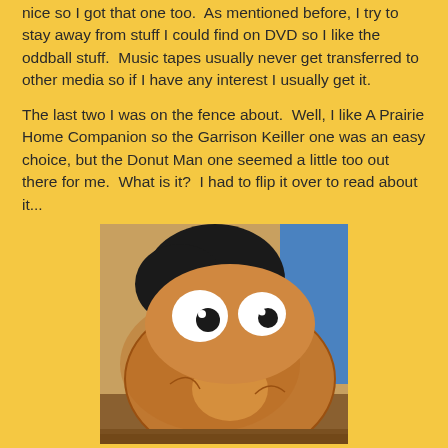nice so I got that one too.  As mentioned before, I try to stay away from stuff I could find on DVD so I like the oddball stuff.  Music tapes usually never get transferred to other media so if I have any interest I usually get it.
The last two I was on the fence about.  Well, I like A Prairie Home Companion so the Garrison Keiller one was an easy choice, but the Donut Man one seemed a little too out there for me.  What is it?  I had to flip it over to read about it...
[Figure (photo): A photo of a cartoon-style donut character with oversized googly eyes and black hair, against a blue background. The donut appears to be a prop or puppet from a children's show called 'Donut Man'.]
Before I could read it, here comes... with this. This is with... stuff